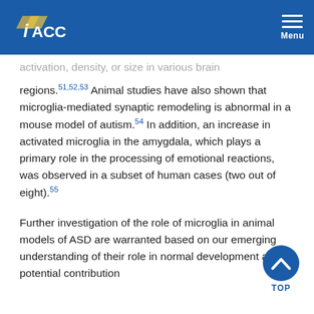IACC — Menu
activation, density, or size in various brain regions.51,52,53 Animal studies have also shown that microglia-mediated synaptic remodeling is abnormal in a mouse model of autism.54 In addition, an increase in activated microglia in the amygdala, which plays a primary role in the processing of emotional reactions, was observed in a subset of human cases (two out of eight).55
Further investigation of the role of microglia in animal models of ASD are warranted based on our emerging understanding of their role in normal development and potential contribution